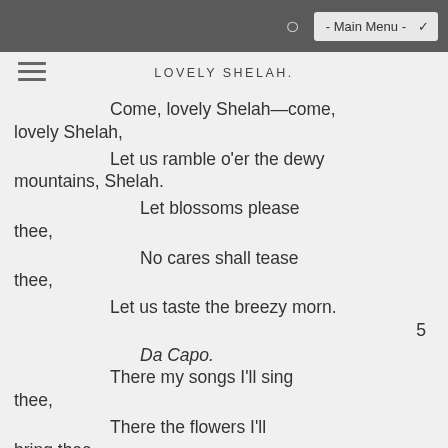- Main Menu -
LOVELY SHELAH.
Come, lovely Shelah—come, lovely Shelah,
Let us ramble o'er the dewy mountains, Shelah.
Let blossoms please thee,
No cares shall tease thee,
Let us taste the breezy morn.
5
Da Capo.
There my songs I'll sing thee,
There the flowers I'll bring thee,